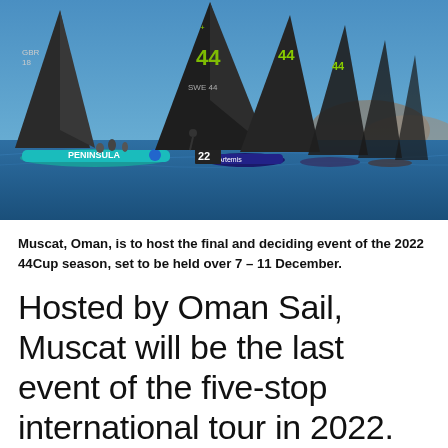[Figure (photo): A fleet of RC44 racing sailboats lined up at the start of a race on blue open water. Boats have large dark sails with numbers including 44, GBR 18, SWE 44. Visible boat names include PENINSULA and Artemis. Clear blue sky, rocky coastline in background.]
Muscat, Oman, is to host the final and deciding event of the 2022 44Cup season, set to be held over 7 – 11 December.
Hosted by Oman Sail, Muscat will be the last event of the five-stop international tour in 2022. This